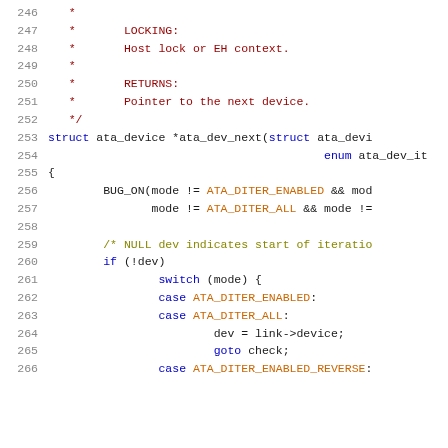Source code listing, lines 246-266, C source file showing ata_dev_next function documentation and body
[Figure (screenshot): C source code with syntax highlighting showing lines 246-266 of a kernel source file. Comments in red, keywords in blue, constants in orange/brown, code in dark/black.]